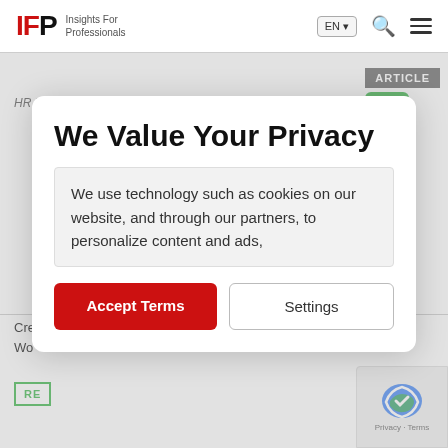IFP Insights For Professionals | EN | Search | Menu
We Value Your Privacy
We use technology such as cookies on our website, and through our partners, to personalize content and ads,
Accept Terms
Settings